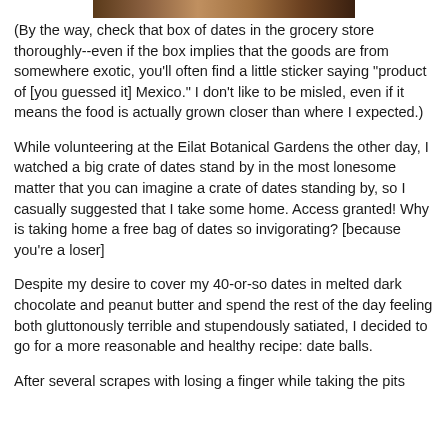[Figure (photo): Partial photo visible at top of page, cropped — appears to show food or produce, brown/warm tones.]
(By the way, check that box of dates in the grocery store thoroughly--even if the box implies that the goods are from somewhere exotic, you'll often find a little sticker saying "product of [you guessed it] Mexico." I don't like to be misled, even if it means the food is actually grown closer than where I expected.)
While volunteering at the Eilat Botanical Gardens the other day, I watched a big crate of dates stand by in the most lonesome matter that you can imagine a crate of dates standing by, so I casually suggested that I take some home. Access granted! Why is taking home a free bag of dates so invigorating? [because you're a loser]
Despite my desire to cover my 40-or-so dates in melted dark chocolate and peanut butter and spend the rest of the day feeling both gluttonously terrible and stupendously satiated, I decided to go for a more reasonable and healthy recipe: date balls.
After several scrapes with losing a finger while taking the pits